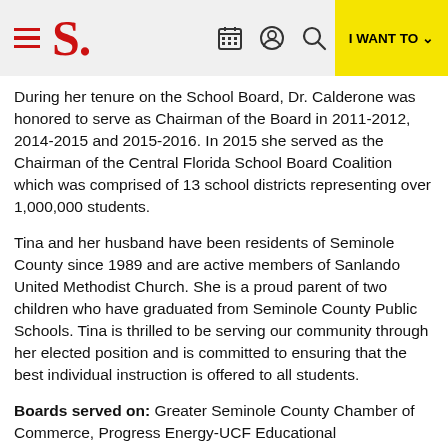Seminole County Schools website header with hamburger menu, S logo, calendar icon, profile icon, search icon, and I WANT TO button
During her tenure on the School Board, Dr. Calderone was honored to serve as Chairman of the Board in 2011-2012, 2014-2015 and 2015-2016. In 2015 she served as the Chairman of the Central Florida School Board Coalition which was comprised of 13 school districts representing over 1,000,000 students.
Tina and her husband have been residents of Seminole County since 1989 and are active members of Sanlando United Methodist Church. She is a proud parent of two children who have graduated from Seminole County Public Schools. Tina is thrilled to be serving our community through her elected position and is committed to ensuring that the best individual instruction is offered to all students.
Boards served on: Greater Seminole County Chamber of Commerce, Progress Energy-UCF Educational